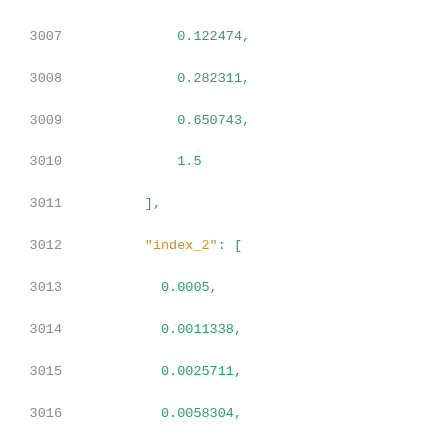Code listing lines 3007-3027 showing numeric array data with index_2 and values arrays in JSON-like format